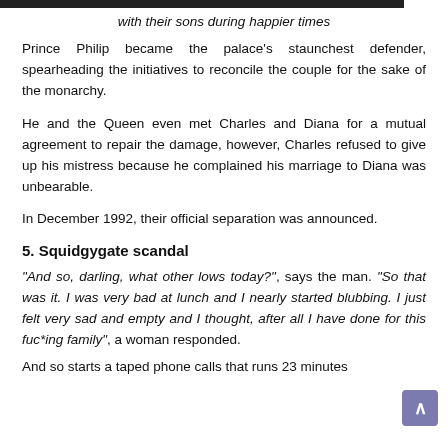[Figure (photo): Top edge of a photo showing people]
with their sons during happier times
Prince Philip became the palace's staunchest defender, spearheading the initiatives to reconcile the couple for the sake of the monarchy.
He and the Queen even met Charles and Diana for a mutual agreement to repair the damage, however, Charles refused to give up his mistress because he complained his marriage to Diana was unbearable.
In December 1992, their official separation was announced.
5. Squidgygate scandal
"And so, darling, what other lows today?", says the man. "So that was it. I was very bad at lunch and I nearly started blubbing. I just felt very sad and empty and I thought, after all I have done for this fuc*ing family", a woman responded.
And so starts a taped phone calls that runs 23 minutes